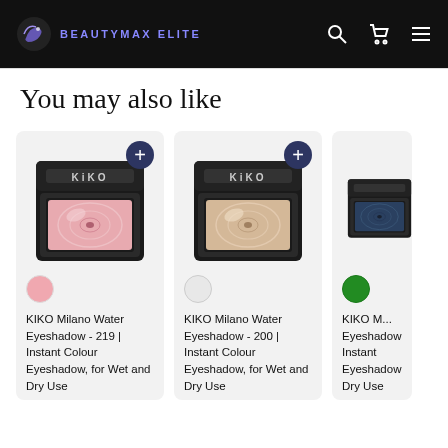BEAUTYMAX ELITE
You may also like
[Figure (photo): KIKO Milano Water Eyeshadow compact in pink/rose shade, open case showing product]
KIKO Milano Water Eyeshadow - 219 | Instant Colour Eyeshadow, for Wet and Dry Use
[Figure (photo): KIKO Milano Water Eyeshadow compact in champagne/beige shade, open case showing product]
KIKO Milano Water Eyeshadow - 200 | Instant Colour Eyeshadow, for Wet and Dry Use
[Figure (photo): KIKO Milano Water Eyeshadow compact in dark navy/teal shade, partially cropped]
KIKO M... Eyeshadow Instant Eyeshadow Dry Use